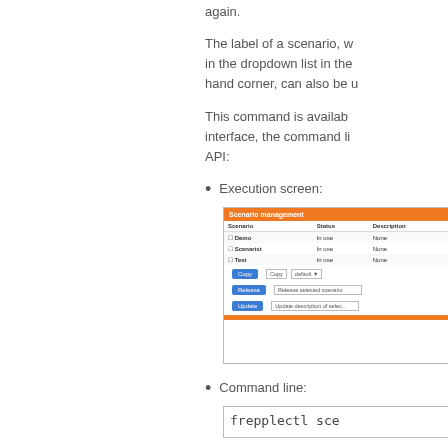again.
The label of a scenario, which appears in the dropdown list in the upper right-hand corner, can also be used.
This command is available in the web interface, the command line, and the API:
Execution screen:
[Figure (screenshot): Scenario management screen showing a table with columns Scenario, Status, Description. Rows include Demo, Scenarist, Test all showing 'In use' status and 'None' description. Below the table are blue buttons: Copy, Release, Update with associated input fields.]
Command line:
[Figure (screenshot): Code box showing command: frepplectl sce...]